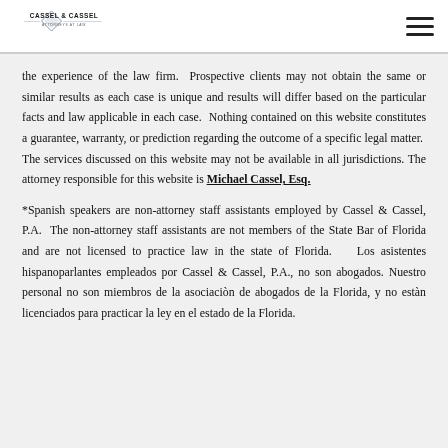Cassel & Cassel Attorneys at Law
the experience of the law firm.  Prospective clients may not obtain the same or similar results as each case is unique and results will differ based on the particular facts and law applicable in each case.  Nothing contained on this website constitutes a guarantee, warranty, or prediction regarding the outcome of a specific legal matter.  The services discussed on this website may not be available in all jurisdictions. The attorney responsible for this website is Michael Cassel, Esq.
*Spanish speakers are non-attorney staff assistants employed by Cassel & Cassel, P.A.  The non-attorney staff assistants are not members of the State Bar of Florida and are not licensed to practice law in the state of Florida.    Los asistentes hispanoparlantes empleados por Cassel & Cassel, P.A., no son abogados. Nuestro personal no son miembros de la asociaciòn de abogados de la Florida, y no estàn licenciados para practicar la ley en el estado de la Florida.